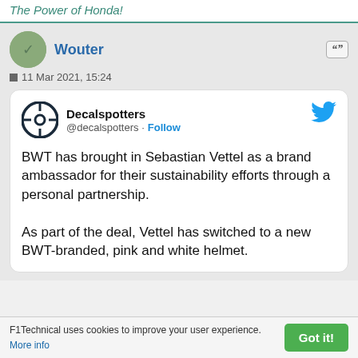The Power of Honda!
Wouter
11 Mar 2021, 15:24
[Figure (screenshot): Embedded tweet from @decalspotters (Decalspotters) with Follow link and Twitter bird logo. Tweet text: BWT has brought in Sebastian Vettel as a brand ambassador for their sustainability efforts through a personal partnership. As part of the deal, Vettel has switched to a new BWT-branded, pink and white helmet.]
F1Technical uses cookies to improve your user experience. More info  Got it!